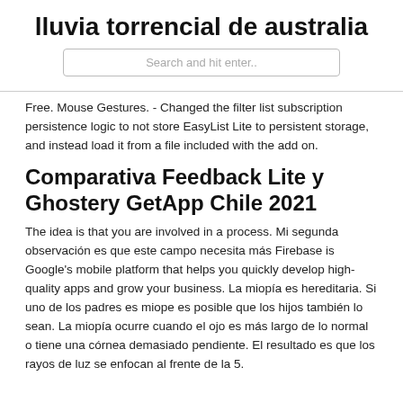lluvia torrencial de australia
Search and hit enter..
Free. Mouse Gestures. - Changed the filter list subscription persistence logic to not store EasyList Lite to persistent storage, and instead load it from a file included with the add on.
Comparativa Feedback Lite y Ghostery GetApp Chile 2021
The idea is that you are involved in a process. Mi segunda observación es que este campo necesita más Firebase is Google's mobile platform that helps you quickly develop high-quality apps and grow your business. La miopía es hereditaria. Si uno de los padres es miope es posible que los hijos también lo sean. La miopía ocurre cuando el ojo es más largo de lo normal o tiene una córnea demasiado pendiente. El resultado es que los rayos de luz se enfocan al frente de la 5.